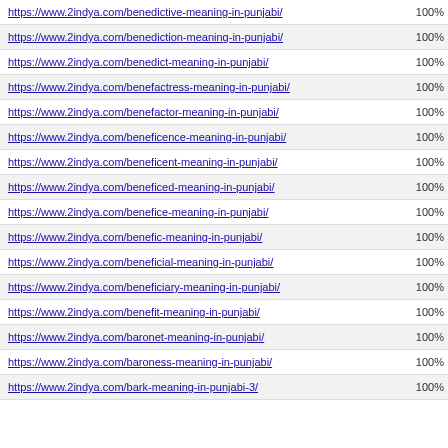| URL | Score |
| --- | --- |
| https://www.2indya.com/benedictive-meaning-in-punjabi/ | 100% |
| https://www.2indya.com/benediction-meaning-in-punjabi/ | 100% |
| https://www.2indya.com/benedict-meaning-in-punjabi/ | 100% |
| https://www.2indya.com/benefactress-meaning-in-punjabi/ | 100% |
| https://www.2indya.com/benefactor-meaning-in-punjabi/ | 100% |
| https://www.2indya.com/beneficence-meaning-in-punjabi/ | 100% |
| https://www.2indya.com/beneficent-meaning-in-punjabi/ | 100% |
| https://www.2indya.com/beneficed-meaning-in-punjabi/ | 100% |
| https://www.2indya.com/benefice-meaning-in-punjabi/ | 100% |
| https://www.2indya.com/benefic-meaning-in-punjabi/ | 100% |
| https://www.2indya.com/beneficial-meaning-in-punjabi/ | 100% |
| https://www.2indya.com/beneficiary-meaning-in-punjabi/ | 100% |
| https://www.2indya.com/benefit-meaning-in-punjabi/ | 100% |
| https://www.2indya.com/baronet-meaning-in-punjabi/ | 100% |
| https://www.2indya.com/baroness-meaning-in-punjabi/ | 100% |
| https://www.2indya.com/bark-meaning-in-punjabi-3/ | 100% |